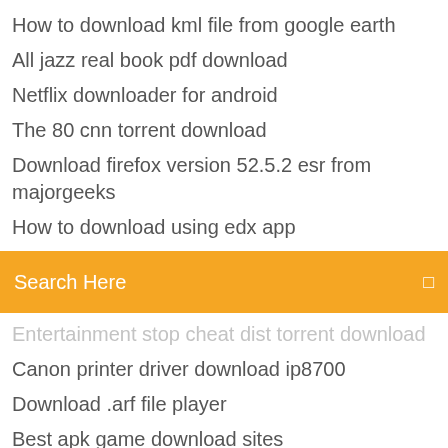How to download kml file from google earth
All jazz real book pdf download
Netflix downloader for android
The 80 cnn torrent download
Download firefox version 52.5.2 esr from majorgeeks
How to download using edx app
[Figure (screenshot): Orange search bar with 'Search Here' text and search icon]
Canon printer driver download ip8700
Download .arf file player
Best apk game download sites
Torrent client software free download
Where to find downloaded files in firefox
Hangouts app for windows 7 free download
Boost mobile android stop downloading instant apps
Java download windows 10 failed
Itunes old version 64 bit download
Can you download lifetime app on ps4